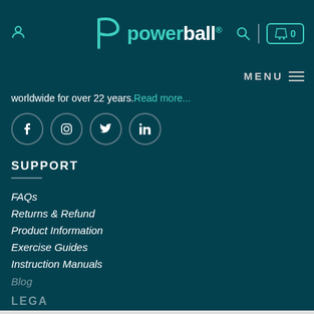powerball® — user icon, search icon, cart 0
MENU
worldwide for over 22 years. Read more...
[Figure (other): Social media icons: Facebook, Instagram, Twitter, LinkedIn — circles with white icons on dark teal background]
SUPPORT
FAQs
Returns & Refund
Product Information
Exercise Guides
Instruction Manuals
Blog
US$7.99  -  1  +  ADD TO CART
LEGAL